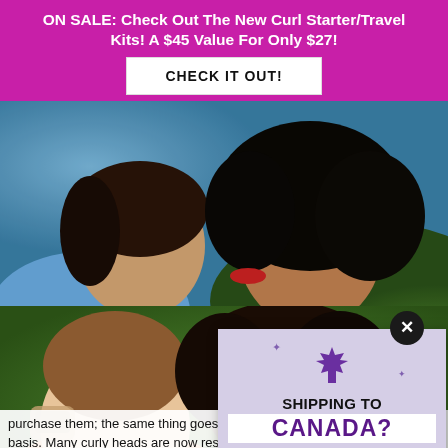ON SALE: Check Out The New Curl Starter/Travel Kits! A $45 Value For Only $27!
CHECK IT OUT!
[Figure (photo): Two women close together, one kissing the other on the cheek, outdoors]
[Figure (photo): Two women lying on grass smiling, one with tattoo on arm, one in orange top]
[Figure (infographic): Popup overlay with purple maple leaf icon, text: SHIPPING TO CANADA? Click here to be redirected! VISIT FRIZZOFF.CA. We've got it wrong? Click away to continue on FRIZZOFF.COM]
purchase them; the same thing goes with products we use on a daily basis. Many curly heads are now researching the key